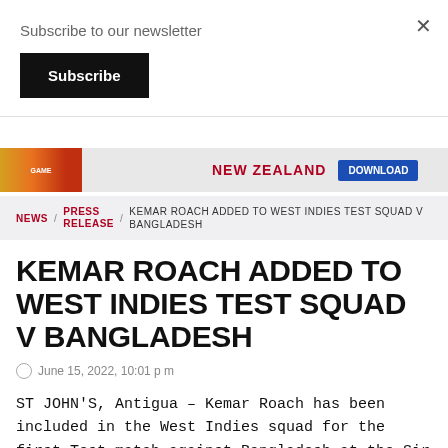Subscribe to our newsletter
Subscribe
[Figure (screenshot): Advertisement banner showing a cricket-related image on the left, 'NEW ZEALAND' text in red in the center, and a blue button on the right]
NEWS / PRESS RELEASE / KEMAR ROACH ADDED TO WEST INDIES TEST SQUAD V BANGLADESH
KEMAR ROACH ADDED TO WEST INDIES TEST SQUAD V BANGLADESH
June 15, 2022, 10:01 p m
ST JOHN'S, Antigua – Kemar Roach has been included in the West Indies squad for the first Test match against Bangladesh at the Sir Vivian Richards Stadium. The experienced fast bowler passed a fitness assessment and was added as the 13th